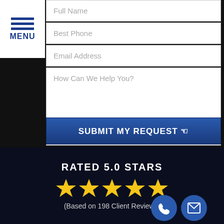[Figure (screenshot): Navigation menu bar with blue horizontal lines and MENU label]
Full Name
Best Phone
Email Address
How Can We Help You?
SUBMIT MY REQUEST
RATED 5.0 STARS
[Figure (infographic): Five gold star rating icons]
(Based on 198 Client Reviews)